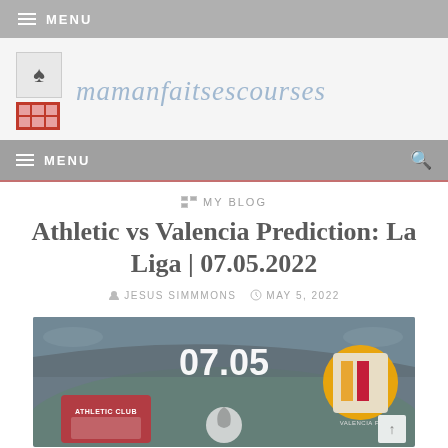≡ MENU
[Figure (logo): Site logo with spade icon, red grid icon, and site name 'mamanfaitsescourses' in light blue italic text]
≡ MENU
MY BLOG
Athletic vs Valencia Prediction: La Liga | 07.05.2022
JESUS SIMMMONS   MAY 5, 2022
[Figure (photo): Football match preview image showing Athletic Club vs Valencia CF with date 07.05 and club logos on stadium background]